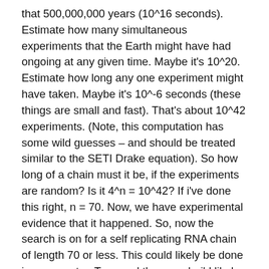that 500,000,000 years (10^16 seconds). Estimate how many simultaneous experiments that the Earth might have had ongoing at any given time. Maybe it's 10^20. Estimate how long any one experiment might have taken. Maybe it's 10^-6 seconds (these things are small and fast). That's about 10^42 experiments. (Note, this computation has some wild guesses – and should be treated similar to the SETI Drake equation). So how long of a chain must it be, if the experiments are random? Is it 4^n = 10^42? If i've done this right, n = 70. Now, we have experimental evidence that it happened. So, now the search is on for a self replicating RNA chain of length 70 or less. This could likely be done in a computer. To speed the search, i'd likely use genetic algorithms.
From what i know of self replicable computer programs, 70 is quite high. There is likely a much smaller size.
My conclusion: abiogenesis is feasible.
The next thing to do is put together a tie-in with Douglas Adam's work (whose initials were DNA). Note references to 42 and 5 in his work...